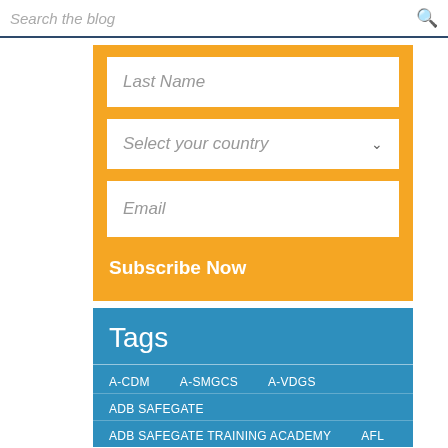Search the blog
[Figure (screenshot): Web form with orange background containing Last Name text field, Select your country dropdown, Email text field, and Subscribe Now button]
Tags
A-CDM
A-SMGCS
A-VDGS
ADB SAFEGATE
ADB SAFEGATE TRAINING ACADEMY
AFL